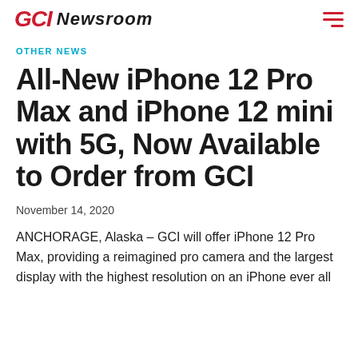GCI Newsroom
OTHER NEWS
All-New iPhone 12 Pro Max and iPhone 12 mini with 5G, Now Available to Order from GCI
November 14, 2020
ANCHORAGE, Alaska – GCI will offer iPhone 12 Pro Max, providing a reimagined pro camera and the largest display with the highest resolution on an iPhone ever all...